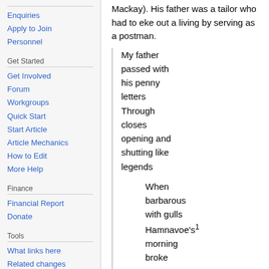Enquiries
Apply to Join
Personnel
Get Started
Get Involved
Forum
Workgroups
Quick Start
Start Article
Article Mechanics
How to Edit
More Help
Finance
Financial Report
Donate
Tools
What links here
Related changes
Special pages
Printable version
Mackay). His father was a tailor who had to eke out a living by serving as a postman.
My father passed with his penny letters
Through closes opening and shutting like legends

When barbarous with gulls Hamnavoe’s¹ morning broke

On the salt
On the salt